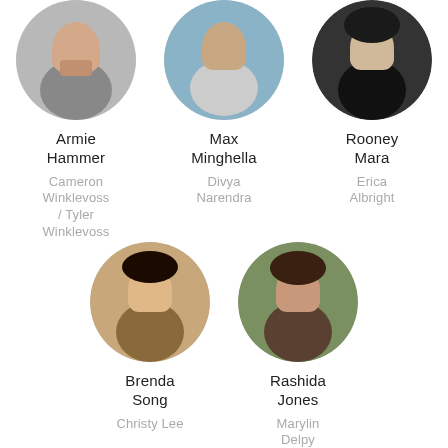[Figure (photo): Circular headshot of Armie Hammer]
Armie Hammer
Cameron Winklevoss / Tyler Winklevoss
[Figure (photo): Circular headshot of Max Minghella]
Max Minghella
Divya Narendra
[Figure (photo): Circular headshot of Rooney Mara]
Rooney Mara
Erica Albright
[Figure (photo): Circular headshot of Brenda Song]
Brenda Song
Christy Lee
[Figure (photo): Circular headshot of Rashida Jones]
Rashida Jones
Marylin Delpy